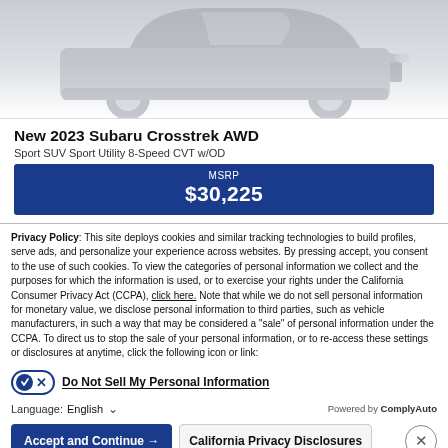[Figure (photo): Partial view of a Subaru Crosstrek AWD vehicle shown from the front/side angle, faded gray tones against white background]
New 2023 Subaru Crosstrek AWD
Sport SUV Sport Utility 8-Speed CVT w/OD
MSRP $30,225
Privacy Policy: This site deploys cookies and similar tracking technologies to build profiles, serve ads, and personalize your experience across websites. By pressing accept, you consent to the use of such cookies. To view the categories of personal information we collect and the purposes for which the information is used, or to exercise your rights under the California Consumer Privacy Act (CCPA), click here. Note that while we do not sell personal information for monetary value, we disclose personal information to third parties, such as vehicle manufacturers, in such a way that may be considered a "sale" of personal information under the CCPA. To direct us to stop the sale of your personal information, or to re-access these settings or disclosures at anytime, click the following icon or link:
Do Not Sell My Personal Information
Language: English
Powered by ComplyAuto
Accept and Continue →
California Privacy Disclosures